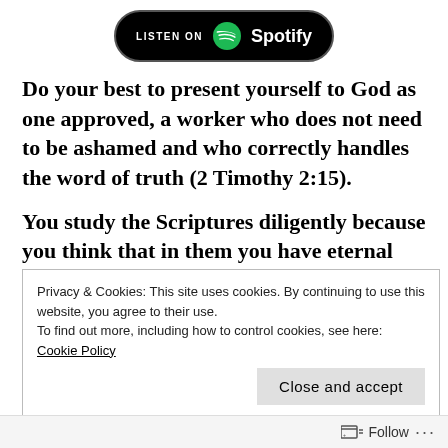[Figure (logo): Listen on Spotify button — black rounded rectangle with Spotify logo and text]
Do your best to present yourself to God as one approved, a worker who does not need to be ashamed and who correctly handles the word of truth (2 Timothy 2:15).
You study the Scriptures diligently because you think that in them you have eternal life. These are the very Scriptures that testify about me, yet you
Privacy & Cookies: This site uses cookies. By continuing to use this website, you agree to their use.
To find out more, including how to control cookies, see here: Cookie Policy
Follow ...